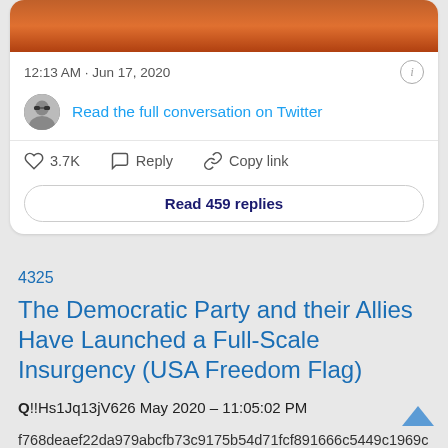[Figure (screenshot): Top of a Twitter/social media card showing a fire-toned image strip at the top]
12:13 AM · Jun 17, 2020
Read the full conversation on Twitter
3.7K  Reply  Copy link
Read 459 replies
4325
The Democratic Party and their Allies Have Launched a Full-Scale Insurgency (USA Freedom Flag)
Q!!Hs1Jq13jV626 May 2020 – 11:05:02 PM
f768deaef22da979abcfb73c9175b54d71fcf891666c5449c1969c07c3cc8920.png